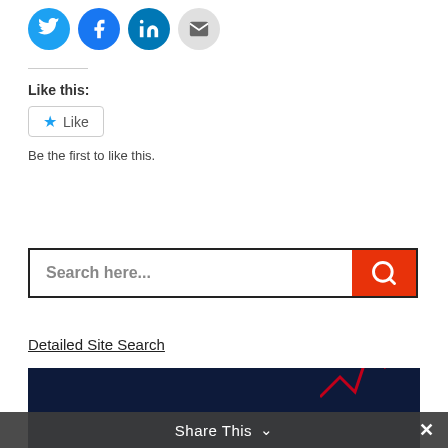[Figure (infographic): Social share buttons row: Twitter (blue circle), Facebook (blue circle), LinkedIn (blue circle), Email (grey circle)]
Like this:
[Figure (infographic): Like button widget with blue star icon and 'Like' text inside a bordered box]
Be the first to like this.
[Figure (infographic): Search bar with placeholder text 'Search here...' and a red search button with magnifying glass icon]
Detailed Site Search
[Figure (photo): Dark navy banner at bottom with red line/graph graphic element]
Share This